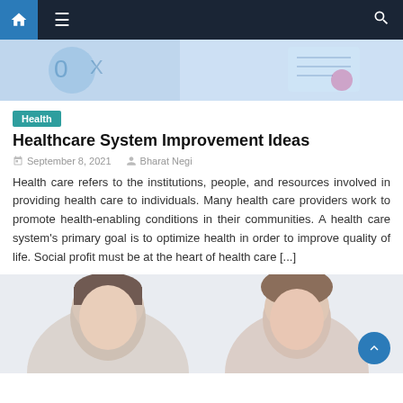Navigation bar with home, menu, and search icons
[Figure (photo): Partial view of a medical/health themed image with blue tones, showing what appears to be medical documents or clipboard]
Health
Healthcare System Improvement Ideas
September 8, 2021   Bharat Negi
Health care refers to the institutions, people, and resources involved in providing health care to individuals. Many health care providers work to promote health-enabling conditions in their communities. A health care system's primary goal is to optimize health in order to improve quality of life. Social profit must be at the heart of health care [...]
[Figure (photo): Two medical professionals (a man and a woman) shown from the shoulders up, smiling, against a light background]